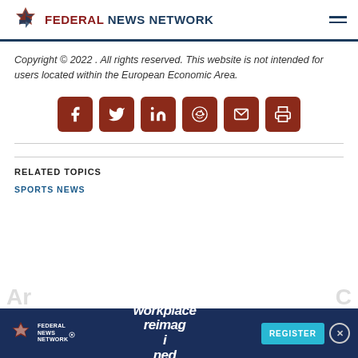FEDERAL NEWS NETWORK
Copyright © 2022 . All rights reserved. This website is not intended for users located within the European Economic Area.
[Figure (infographic): Row of 6 social share buttons (Facebook, Twitter, LinkedIn, Reddit, Email, Print) in dark red rounded squares]
RELATED TOPICS
SPORTS NEWS
[Figure (infographic): Bottom ad banner for Federal News Network 'workplace reimagined' with Register button and close X button]